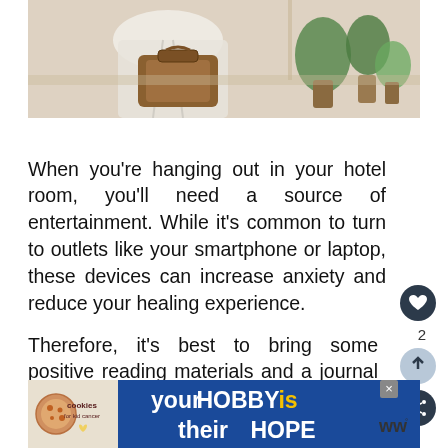[Figure (photo): Person in white robe examining or packing a brown leather bag/suitcase near a window with potted plants visible on a windowsill]
When you’re hanging out in your hotel room, you’ll need a source of entertainment. While it’s common to turn to outlets like your smartphone or laptop, these devices can increase anxiety and reduce your healing experience.
Therefore, it’s best to bring some positive reading materials and a journal on your t... Since you won’t have your typical dis... you can focus on personal development and g...
[Figure (screenshot): Advertisement banner: your HOBBY is their HOPE - cookies for kid cancer logo on left, WW logo on right]